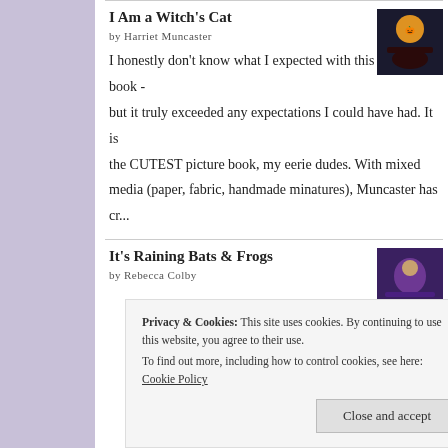I Am a Witch's Cat
by Harriet Muncaster
I honestly don't know what I expected with this picture book - but it truly exceeded any expectations I could have had. It is the CUTEST picture book, my eerie dudes. With mixed media (paper, fabric, handmade minatures), Muncaster has cr...
It's Raining Bats & Frogs
by Rebecca Colby
Privacy & Cookies: This site uses cookies. By continuing to use this website, you agree to their use. To find out more, including how to control cookies, see here: Cookie Policy
Close and accept